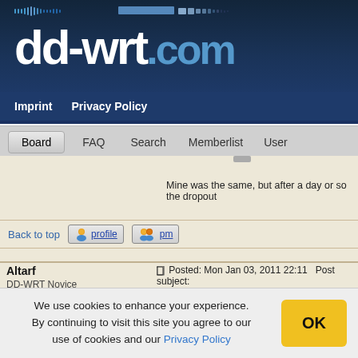dd-wrt.com
Imprint   Privacy Policy
Board   FAQ   Search   Memberlist   User
Mine was the same, but after a day or so the dropout
Back to top
Altarf
DD-WRT Novice
Joined: 14 Apr 2007
Posted: Mon Jan 03, 2011 22:11   Post subject:
Quote:
Mine was the same, but after a day or so t though
We use cookies to enhance your experience. By continuing to visit this site you agree to our use of cookies and our Privacy Policy